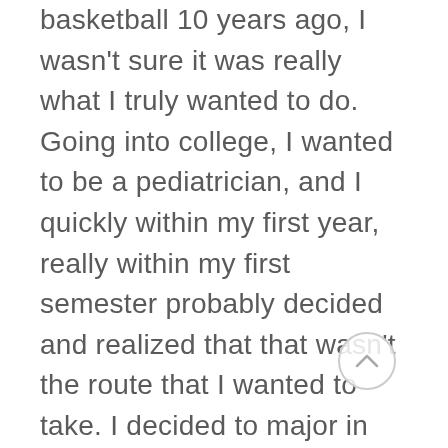basketball 10 years ago, I wasn't sure it was really what I truly wanted to do. Going into college, I wanted to be a pediatrician, and I quickly within my first year, really within my first semester probably decided and realized that that wasn't the route that I wanted to take. I decided to major in math, and I didn't really have a true career plan. Simply getting a degree in math, I figured it would leave my options open. I was always good in math, I had this notion I had this idea in my head that I never wanted to not take a math class because I didn't ever want to get behind if I ever needed